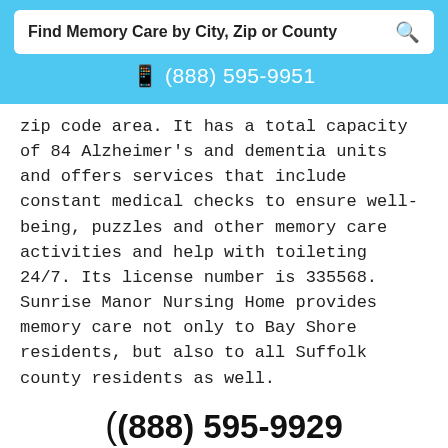[Figure (screenshot): Search bar with text 'Find Memory Care by City, Zip or County' and a magnifier icon on a light blue background]
📱 (888) 595-9951
zip code area. It has a total capacity of 84 Alzheimer's and dementia units and offers services that include constant medical checks to ensure well-being, puzzles and other memory care activities and help with toileting 24/7. Its license number is 335568. Sunrise Manor Nursing Home provides memory care not only to Bay Shore residents, but also to all Suffolk county residents as well.
( (888) 595-9929
Learn More
View Pricing & Availability